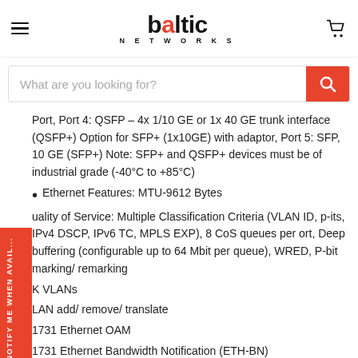baltic NETWORKS
What are you looking for?
Port, Port 4: QSFP – 4x 1/10 GE or 1x 40 GE trunk interface (QSFP+) Option for SFP+ (1x10GE) with adaptor, Port 5: SFP, 10 GE (SFP+) Note: SFP+ and QSFP+ devices must be of industrial grade (-40°C to +85°C)
Ethernet Features: MTU-9612 Bytes
Quality of Service: Multiple Classification Criteria (VLAN ID, p-bits, IPv4 DSCP, IPv6 TC, MPLS EXP), 8 CoS queues per port, Deep buffering (configurable up to 64 Mbit per queue), WRED, P-bit marking/ remarking
K VLANs
LAN add/ remove/ translate
1731 Ethernet OAM
1731 Ethernet Bandwidth Notification (ETH-BN)